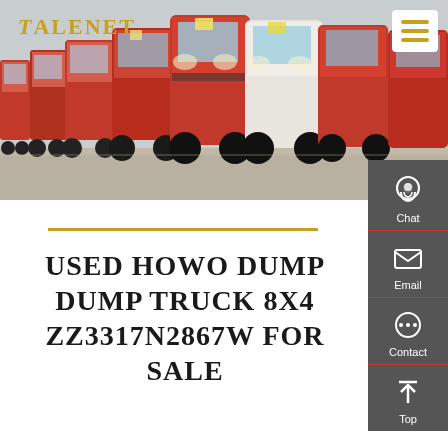[Figure (photo): Row of red and white HOWO trucks parked in a lot, viewed from the front-left angle, with a TALENET logo overlay in the top-left corner and a hamburger menu icon in the top-right corner.]
USED HOWO DUMP DUMP TRUCK 8X4 ZZ3317N2867W FOR SALE